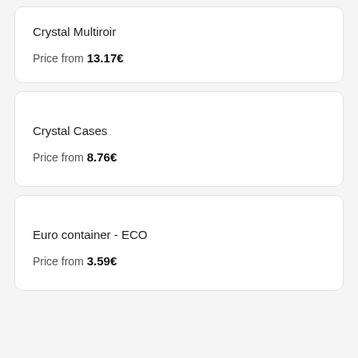Crystal Multiroir
Price from 13.17€
Crystal Cases
Price from 8.76€
Euro container - ECO
Price from 3.59€